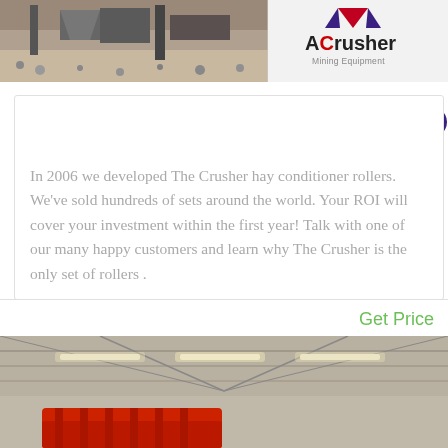[Figure (photo): Top banner image showing mining/crushing equipment on the left side, and ACrusher Mining Equipment logo on the right white panel]
Home - B&D Rollers
[Figure (logo): Live Chat speech bubble badge in teal/blue-purple colors]
In 2006 we developed The Crusher hay conditioner rollers. We've sold hundreds of sets around the world. Your ROI will cover your investment within the first year! Talk with one of our many happy customers and learn why The Crusher is the only set of rollers .
Get Price
[Figure (photo): Interior of an industrial warehouse/facility with overhead lighting and red equipment visible at the bottom]